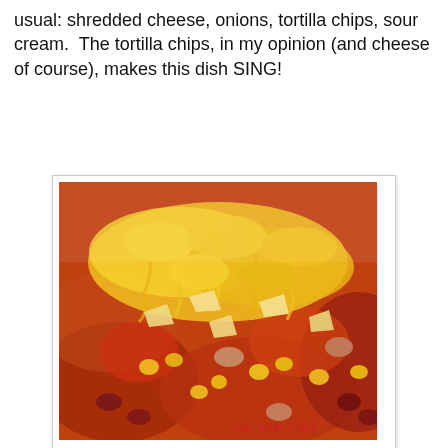usual: shredded cheese, onions, tortilla chips, sour cream. The tortilla chips, in my opinion (and cheese of course), makes this dish SING!
[Figure (photo): Close-up photo of chili topped with shredded cheese, corn, beans, and tortilla chips in a white bowl. Watermark reads 'One Picky Chick' in red italic text at bottom right.]